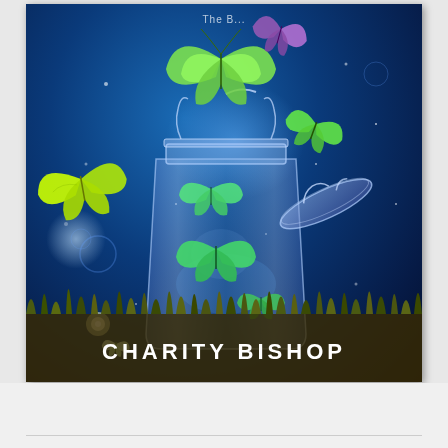[Figure (illustration): Book cover illustration showing a glass mason jar with the lid open, releasing glowing green and yellow-green butterflies into a magical blue glowing night sky. Additional purple and green butterflies fly around. The jar sits on dark grass at the bottom. The scene has a fantasy/magical aesthetic with blue radiant lighting and sparkles.]
CHARITY BISHOP